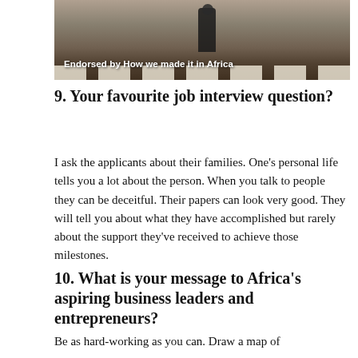[Figure (photo): Person walking across a zebra crossing, with text overlay 'Endorsed by How we made it in Africa']
9. Your favourite job interview question?
I ask the applicants about their families. One’s personal life tells you a lot about the person. When you talk to people they can be deceitful. Their papers can look very good. They will tell you about what they have accomplished but rarely about the support they’ve received to achieve those milestones.
10. What is your message to Africa’s aspiring business leaders and entrepreneurs?
Be as hard-working as you can. Draw a map of